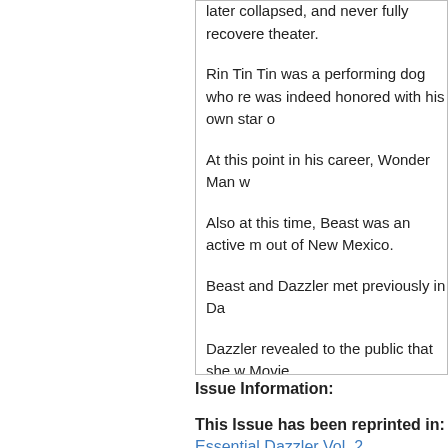...collapsed, and never fully recovered theater.
Rin Tin Tin was a performing dog who re... was indeed honored with his own star o...
At this point in his career, Wonder Man w...
Also at this time, Beast was an active m... out of New Mexico.
Beast and Dazzler met previously in Da...
Dazzler revealed to the public that she w... Movie.
None of the Heartbreak Hotel characters...
Issue Information:
This Issue has been reprinted in:
Essential Dazzler Vol. 2